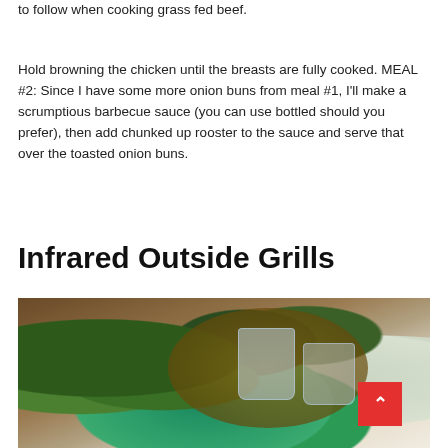to follow when cooking grass fed beef.
Hold browning the chicken until the breasts are fully cooked. MEAL #2: Since I have some more onion buns from meal #1, I'll make a scrumptious barbecue sauce (you can use bottled should you prefer), then add chunked up rooster to the sauce and serve that over the toasted onion buns.
Infrared Outside Grills
[Figure (photo): Photo of vegetables including zucchini/cucumbers on a wooden board with glass condiment dishes, and a sliced lime in the foreground]